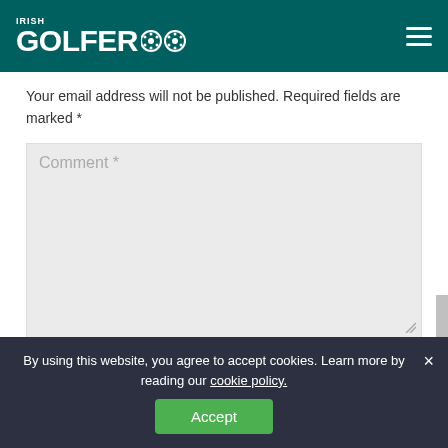IRISH GOLFER
Your email address will not be published. Required fields are marked *
Comment *
Name *
By using this website, you agree to accept cookies. Learn more by reading our cookie policy.